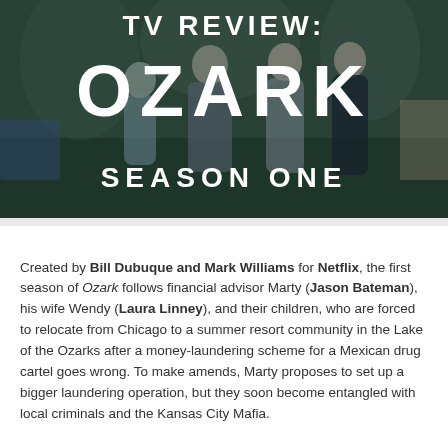[Figure (photo): Promotional image for Ozark Season One TV review showing the Byrde family standing outdoors with trees in background, overlaid with bold white text reading 'TV REVIEW: OZARK SEASON ONE']
Created by Bill Dubuque and Mark Williams for Netflix, the first season of Ozark follows financial advisor Marty (Jason Bateman), his wife Wendy (Laura Linney), and their children, who are forced to relocate from Chicago to a summer resort community in the Lake of the Ozarks after a money-laundering scheme for a Mexican drug cartel goes wrong. To make amends, Marty proposes to set up a bigger laundering operation, but they soon become entangled with local criminals and the Kansas City Mafia.